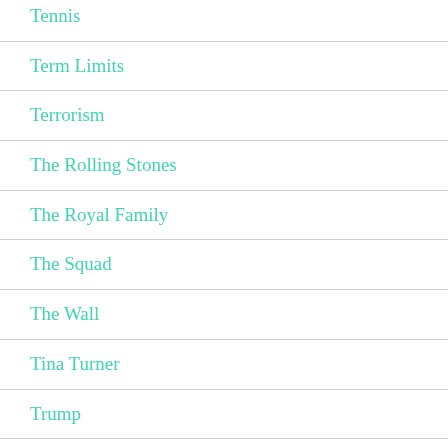Tennis
Term Limits
Terrorism
The Rolling Stones
The Royal Family
The Squad
The Wall
Tina Turner
Trump